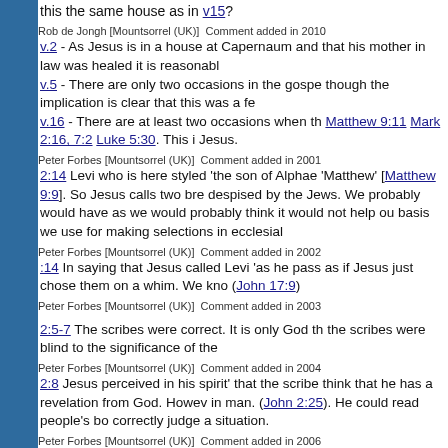this the same house as in v15?
Rob de Jongh [Mountsorrel (UK)]  Comment added in 2010
v.2 - As Jesus is in a house at Capernaum and that his mother in law was healed it is reasonabl
v.5 - There are only two occasions in the gospe though the implication is clear that this was a fe
v.16 - There are at least two occasions when th Matthew 9:11 Mark 2:16, 7:2 Luke 5:30. This i Jesus.
Peter Forbes [Mountsorrel (UK)]  Comment added in 2001
2:14 Levi who is here styled 'the son of Alphae 'Matthew' [Matthew 9:9]. So Jesus calls two bre despised by the Jews. We probably would have as we would probably think it would not help ou basis we use for making selections in ecclesial
Peter Forbes [Mountsorrel (UK)]  Comment added in 2002
:14 In saying that Jesus called Levi 'as he pass as if Jesus just chose them on a whim. We kno (John 17:9)
Peter Forbes [Mountsorrel (UK)]  Comment added in 2003
2:5-7 The scribes were correct. It is only God th the scribes were blind to the significance of the
Peter Forbes [Mountsorrel (UK)]  Comment added in 2004
2:8 Jesus perceived in his spirit' that the scribe think that he has a revelation from God. Howev in man. (John 2:25). He could read people's bo correctly judge a situation.
Peter Forbes [Mountsorrel (UK)]  Comment added in 2006